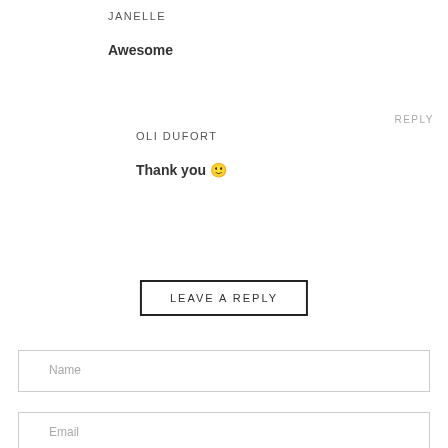JANELLE
Awesome
REPLY
OLI DUFORT
Thank you 🙂
LEAVE A REPLY
Name
Email